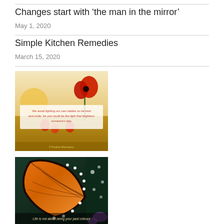Changes start with ‘the man in the mirror’
May 1, 2020
Simple Kitchen Remedies
March 15, 2020
[Figure (photo): Poppy field photo with inspirational quote overlay: 'We avoid fighting our own battles so be kind and smile, for you could be the light that brightens someone's day.']
[Figure (photo): Close-up photo of a monarch butterfly wing with text overlay: 'Life is not about being your past colours']